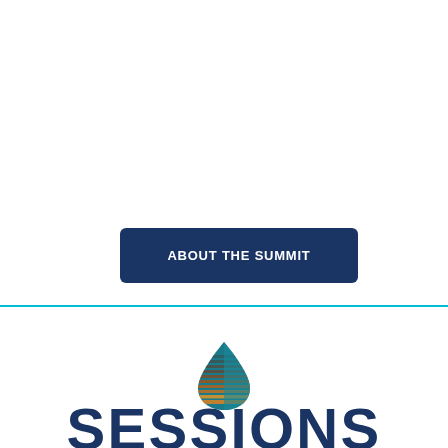[Figure (other): Dark navy blue rounded rectangle button labeled ABOUT THE SUMMIT in bold white uppercase text]
[Figure (logo): Water drop logo with horizontal orange/gold stripes and teal/blue coloring for a summit branding]
SESSIONS